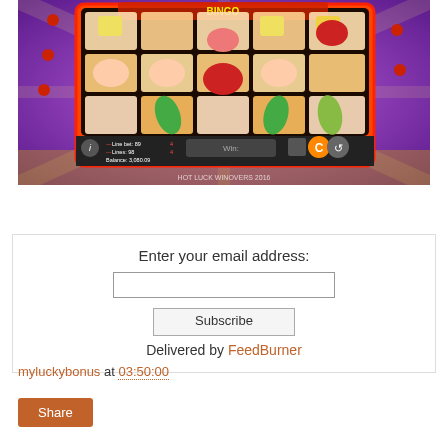[Figure (screenshot): Screenshot of a slot machine game (Bingo or similar themed) showing a 5x3 reel grid with cartoon characters (clown-like figures, chili peppers, cups) on a purple background with orange/red game interface. Bottom bar shows: Line bet: 89, Lines: 98, Balance: 3,080.09 and spin controls.]
Enter your email address:
Subscribe
Delivered by FeedBurner
myluckybonus at 03:50:00
Share